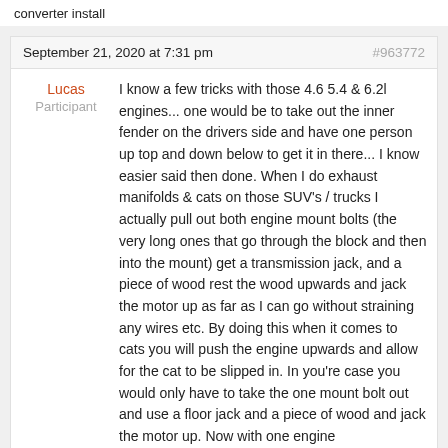converter install
September 21, 2020 at 7:31 pm
#963772
Lucas
Participant
I know a few tricks with those 4.6 5.4 & 6.2l engines... one would be to take out the inner fender on the drivers side and have one person up top and down below to get it in there... I know easier said then done. When I do exhaust manifolds & cats on those SUV's / trucks I actually pull out both engine mount bolts (the very long ones that go through the block and then into the mount) get a transmission jack, and a piece of wood rest the wood upwards and jack the motor up as far as I can go without straining any wires etc. By doing this when it comes to cats you will push the engine upwards and allow for the cat to be slipped in. In you're case you would only have to take the one mount bolt out and use a floor jack and a piece of wood and jack the motor up. Now with one engine